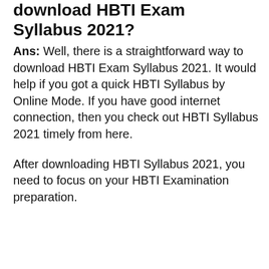download HBTI Exam Syllabus 2021?
Ans: Well, there is a straightforward way to download HBTI Exam Syllabus 2021. It would help if you got a quick HBTI Syllabus by Online Mode. If you have good internet connection, then you check out HBTI Syllabus 2021 timely from here.
After downloading HBTI Syllabus 2021, you need to focus on your HBTI Examination preparation.